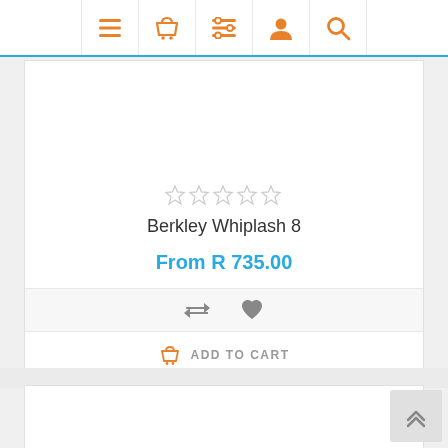[Figure (screenshot): Navigation bar with orange icons: hamburger menu, shopping basket, filter/list, user profile, search magnifier]
[Figure (other): 5 empty star rating icons in gray/outline style]
Berkley Whiplash 8
From R 735.00
[Figure (other): Compare arrows icon and heart/wishlist icon in gray]
ADD TO CART
[Figure (other): Back to top double chevron up arrow button]